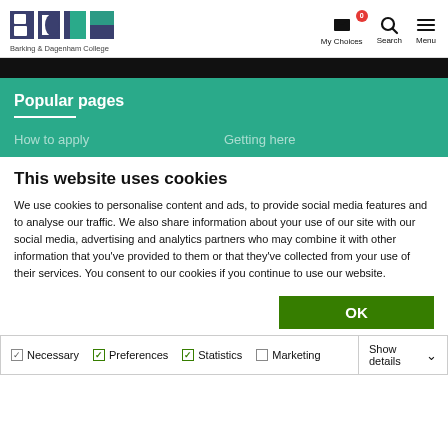[Figure (logo): Barking & Dagenham College logo with BDC letters in dark blue and green, and text 'Barking & Dagenham College' below]
[Figure (screenshot): Navigation icons: My Choices (book icon with badge showing 0), Search (magnifier icon), Menu (hamburger icon)]
[Figure (screenshot): Black navigation bar]
Popular pages
How to apply
Getting here
This website uses cookies
We use cookies to personalise content and ads, to provide social media features and to analyse our traffic. We also share information about your use of our site with our social media, advertising and analytics partners who may combine it with other information that you've provided to them or that they've collected from your use of their services. You consent to our cookies if you continue to use our website.
OK
Necessary	Preferences	Statistics
Marketing	Show details